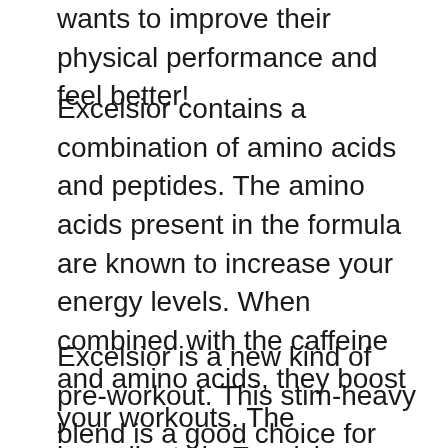wants to improve their physical performance and feel better!
Excelsior contains a combination of amino acids and peptides. The amino acids present in the formula are known to increase your energy levels. When combined with the caffeine and amino acids, they boost your workouts. The ingredients in Excelsior are natural and do not contain any harmful substances. They are also safe for your body. So, if you want a high-energy pre-workout, choose Excelsior. You will be glad you did.
Excelsior is a new kind of pre-workout. This stim-heavy blend is a good choice for those who have a high tolerance for stimulants. It should not be used by people who are susceptible to mood swings and